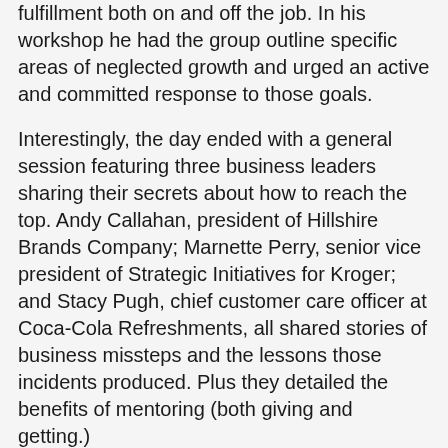fulfillment both on and off the job. In his workshop he had the group outline specific areas of neglected growth and urged an active and committed response to those goals.
Interestingly, the day ended with a general session featuring three business leaders sharing their secrets about how to reach the top. Andy Callahan, president of Hillshire Brands Company; Marnette Perry, senior vice president of Strategic Initiatives for Kroger; and Stacy Pugh, chief customer care officer at Coca-Cola Refreshments, all shared stories of business missteps and the lessons those incidents produced. Plus they detailed the benefits of mentoring (both giving and getting.)
Other parts of the program included:
• Four individual tracks for more focused learning. One session I attended challenged